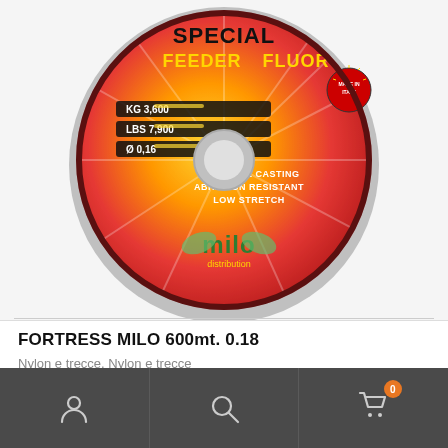[Figure (photo): Fishing line spool - Special Feeder Fluor by Milo Distribution, red/orange/yellow label showing KG 3.600, LBS 7.900, diameter 0.16, with ACCURATE CASTING, ABRASION RESISTANT, LOW STRETCH text]
FORTRESS MILO 600mt. 0.18
Nylon e trecce, Nylon e trecce
19,90 € 29,90 €